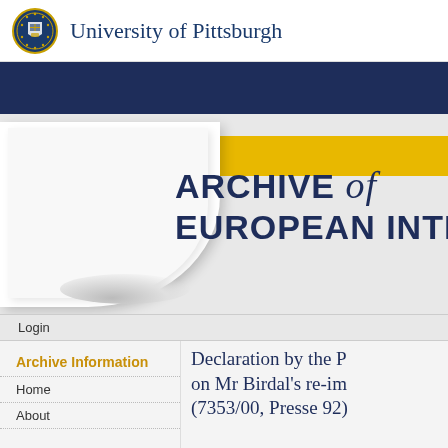University of Pittsburgh
[Figure (screenshot): University of Pittsburgh seal/logo — circular emblem with blue and gold colors]
[Figure (illustration): Archive of European Integration decorative header graphic: dark navy band, yellow stripe, white paper curl effect, with bold navy text reading 'ARCHIVE of EUROPEAN INTE' (partially cropped)]
Login
Archive Information
Home
About
Declaration by the P on Mr Birdal's re-im (7353/00, Presse 92)